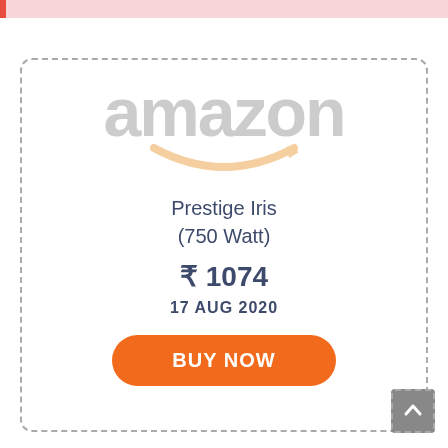[Figure (screenshot): Amazon product listing card with dashed border. Shows Amazon logo (greyed out wordmark with orange smile arrow), product name 'Prestige Iris (750 Watt)', price '₹1074', date '17 AUG 2020', and an orange 'BUY NOW' button. A grey scroll-to-top button appears at bottom right.]